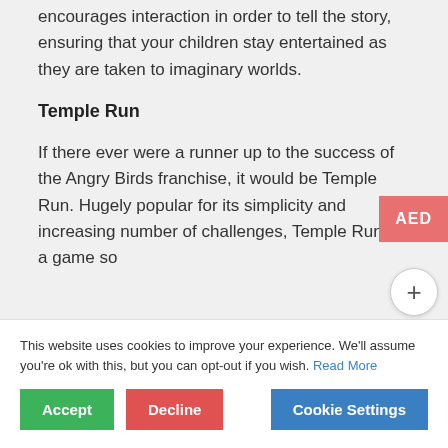encourages interaction in order to tell the story, ensuring that your children stay entertained as they are taken to imaginary worlds.
Temple Run
If there ever were a runner up to the success of the Angry Birds franchise, it would be Temple Run. Hugely popular for its simplicity and increasing number of challenges, Temple Run is a game so
This website uses cookies to improve your experience. We'll assume you're ok with this, but you can opt-out if you wish. Read More
Accept
Decline
Cookie Settings